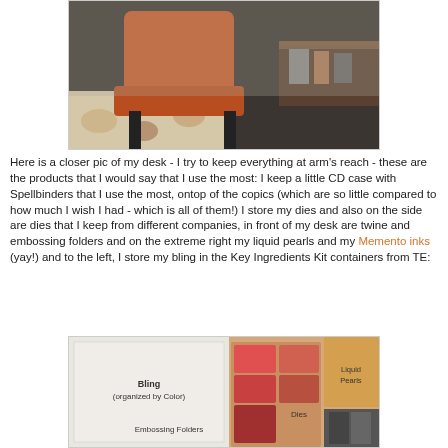[Figure (photo): Close-up photo of a craft desk showing an orange/brown chair and desk organizers with craft supplies in the background.]
Here is a closer pic of my desk - I try to keep everything at arm's reach - these are the products that I would say that I use the most: I keep a little CD case with Spellbinders that I use the most, ontop of the copics (which are so little compared to how much I wish I had - which is all of them!) I store my dies and also on the side are dies that I keep from different companies, in front of my desk are twine and embossing folders and on the extreme right my liquid pearls and my Memento inks (yay!) and to the left, I store my bling in the Key Ingredients Kit containers from TE:
[Figure (photo): Photo of craft desk storage area with labels showing 'Bling (organized by Color)', 'Embossing Folders', 'Dies', and 'Liquid Pearls'.]